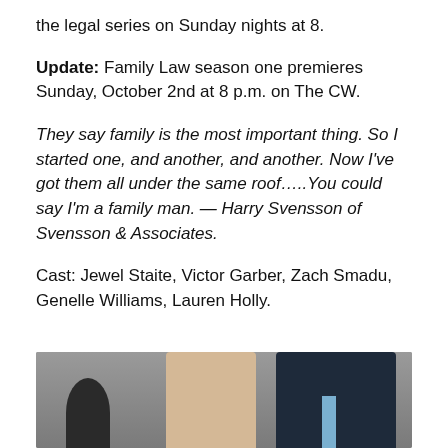the legal series on Sunday nights at 8.
Update: Family Law season one premieres Sunday, October 2nd at 8 p.m. on The CW.
They say family is the most important thing. So I started one, and another, and another. Now I've got them all under the same roof…..You could say I'm a family man. — Harry Svensson of Svensson & Associates.
Cast: Jewel Staite, Victor Garber, Zach Smadu, Genelle Williams, Lauren Holly.
[Figure (photo): Cast photo showing multiple people standing together against a grey background, including a woman with curly hair and an older man in a suit with a blue tie.]